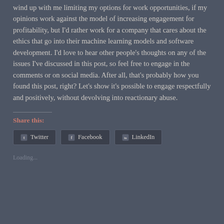wind up with me limiting my options for work opportunities, if my opinions work against the model of increasing engagement for profitability, but I'd rather work for a company that cares about the ethics that go into their machine learning models and software development. I'd love to hear other people's thoughts on any of the issues I've discussed in this post, so feel free to engage in the comments or on social media. After all, that's probably how you found this post, right? Let's show it's possible to engage respectfully and positively, without devolving into reactionary abuse.
Share this:
Twitter
Facebook
LinkedIn
Loading...